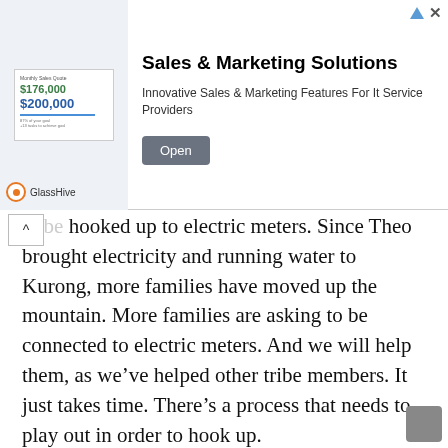[Figure (screenshot): Advertisement banner for GlassHive Sales & Marketing Solutions with chart image, title, description, and Open button]
...families in Kurong Village are waiting to be hooked up to electric meters. Since Theo brought electricity and running water to Kurong, more families have moved up the mountain. More families are asking to be connected to electric meters. And we will help them, as we’ve helped other tribe members. It just takes time. There’s a process that needs to play out in order to hook up.

We’ve had the time to help the Ati and also many other people. We’ve helped with hospital and doctor bills, prescription drugs, funerals, food, utility bills, and more. And here is where my sixth